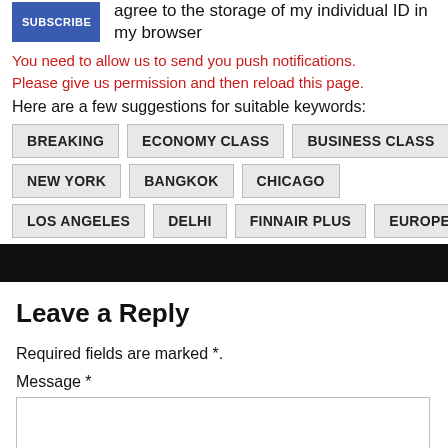agree to the storage of my individual ID in my browser
You need to allow us to send you push notifications. Please give us permission and then reload this page.
Here are a few suggestions for suitable keywords:
BREAKING
ECONOMY CLASS
BUSINESS CLASS
NEW YORK
BANGKOK
CHICAGO
LOS ANGELES
DELHI
FINNAIR PLUS
EUROPE
Leave a Reply
Required fields are marked *.
Message *